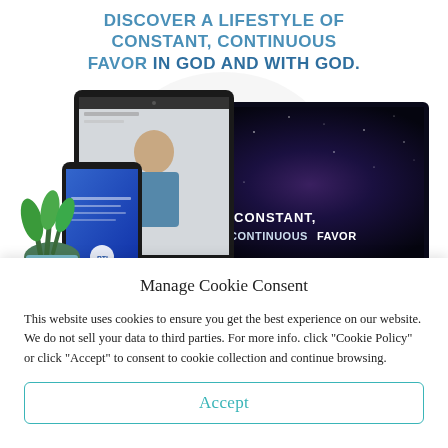DISCOVER A LIFESTYLE OF CONSTANT, CONTINUOUS FAVOR IN GOD AND WITH GOD.
[Figure (screenshot): Screenshot showing devices (tablet, smartphone, laptop) displaying a religious ministry website with a man in a blue shirt and text 'CONSTANT, CONTINUOUS FAVOR' over a galaxy background image.]
Manage Cookie Consent
This website uses cookies to ensure you get the best experience on our website. We do not sell your data to third parties. For more info. click "Cookie Policy" or click "Accept" to consent to cookie collection and continue browsing.
Accept